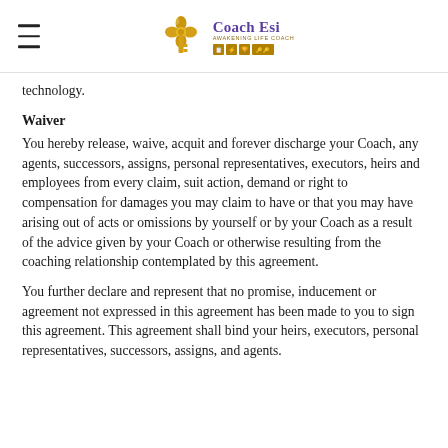Coach Esi
technology.
Waiver
You hereby release, waive, acquit and forever discharge your Coach, any agents, successors, assigns, personal representatives, executors, heirs and employees from every claim, suit action, demand or right to compensation for damages you may claim to have or that you may have arising out of acts or omissions by yourself or by your Coach as a result of the advice given by your Coach or otherwise resulting from the coaching relationship contemplated by this agreement.
You further declare and represent that no promise, inducement or agreement not expressed in this agreement has been made to you to sign this agreement. This agreement shall bind your heirs, executors, personal representatives, successors, assigns, and agents.